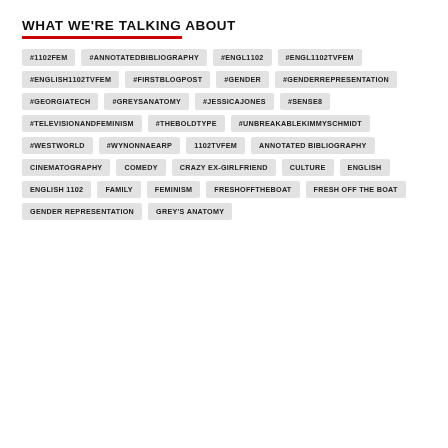WHAT WE'RE TALKING ABOUT
#1102FEM
#ANNOTATEDBIBLIOGRAPHY
#ENGL1102
#ENGL1102TVFEM
#ENGLISH1102TVFEM
#FIRSTBLOGPOST
#GENDER
#GENDERREPRESENTATION
#GEORGIATECH
#GREYSANATOMY
#JESSICAJONES
#SENSE8
#TELEVISIONANDFEMINISM
#THEBOLDTYPE
#UNBREAKABLEKIMMYSCHMIDT
#WESTWORLD
#WYNONNAEARP
1102TVFEM
ANNOTATED BIBLIOGRAPHY
CINEMATOGRAPHY
COMEDY
CRAZY EX-GIRLFRIEND
CULTURE
ENGLISH
ENGLISH 1102
FAMILY
FEMINISM
FRESHOFFTHEBOAT
FRESH OFF THE BOAT
GENDER REPRESENTATION
GREY'S ANATOMY